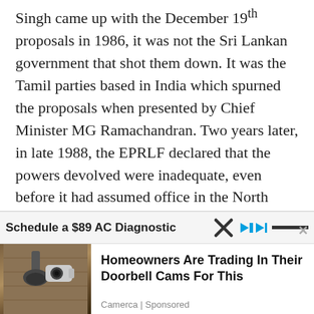Singh came up with the December 19th proposals in 1986, it was not the Sri Lankan government that shot them down. It was the Tamil parties based in India which spurned the proposals when presented by Chief Minister MG Ramachandran. Two years later, in late 1988, the EPRLF declared that the powers devolved were inadequate, even before it had assumed office in the North East Provincial Council and tested out that proposition. After- and despite- a decade of comradeship and shared risk-taking, Premachandran had denounced me with no little menace as a 'Sinhala chauvinist' simply because I had
[Figure (screenshot): Advertisement overlay: 'Schedule a $89 AC Diagnostic' bar partially visible, with a close (X) button and skip ad controls. Below: 'Homeowners Are Trading In Their Doorbell Cams For This' ad by Camerca, Sponsored, with a photo of a security camera on a wall.]